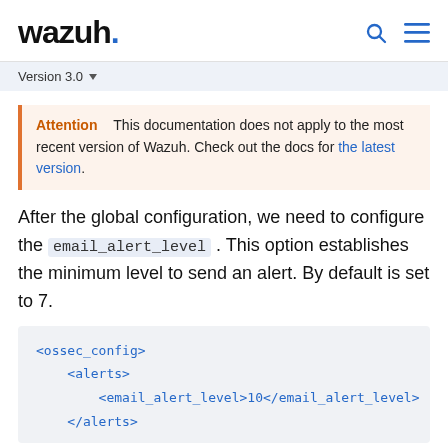wazuh.
Version 3.0
Attention   This documentation does not apply to the most recent version of Wazuh. Check out the docs for the latest version.
After the global configuration, we need to configure the email_alert_level . This option establishes the minimum level to send an alert. By default is set to 7.
<ossec_config>
    <alerts>
        <email_alert_level>10</email_alert_level>
    </alerts>